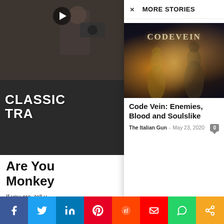[Figure (screenshot): Video thumbnail with play button overlay showing 'CLASSIC TRA...' text label on dark background]
Are You Monkey
If you are, tell us know which mo some awesome
× MORE STORIES
[Figure (screenshot): Code Vein game artwork showing characters with the CODE VEIN logo]
Code Vein: Enemies, Blood and Soulslike
The Italian Gun - May 23, 2020
f  t  in  P  reddit  m  WhatsApp  share